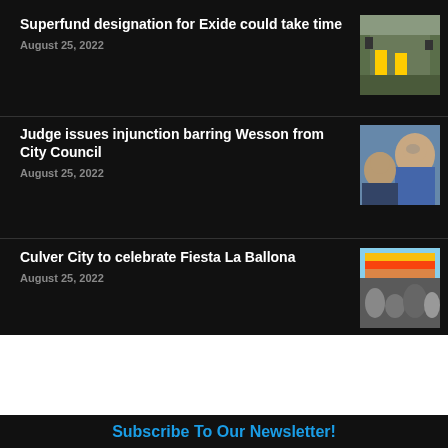Superfund designation for Exide could take time
August 25, 2022
[Figure (photo): Workers in yellow hazmat suits at industrial site]
Judge issues injunction barring Wesson from City Council
August 25, 2022
[Figure (photo): Two men, one older with glasses, one younger]
Culver City to celebrate Fiesta La Ballona
August 25, 2022
[Figure (photo): Crowd at outdoor festival with colorful flags]
Subscribe To Our Newsletter!